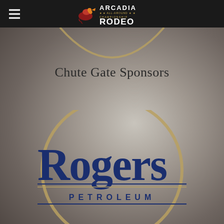Arcadia All-Around Championship Rodeo
Chute Gate Sponsors
[Figure (logo): Rogers Petroleum logo inside a circular ring on a dark gradient background]